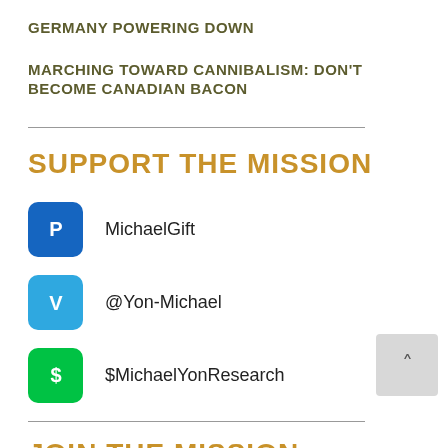GERMANY POWERING DOWN
MARCHING TOWARD CANNIBALISM: DON'T BECOME CANADIAN BACON
SUPPORT THE MISSION
MichaelGift
@Yon-Michael
$MichaelYonResearch
JOIN THE MISSION